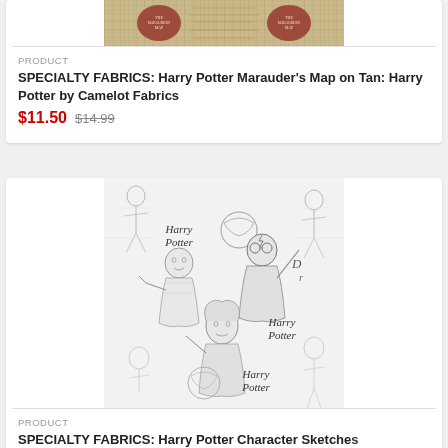[Figure (photo): Marauder's Map fabric product image on tan background]
PRODUCT
SPECIALTY FABRICS: Harry Potter Marauder's Map on Tan: Harry Potter by Camelot Fabrics
$11.50 $14.99
[Figure (photo): Harry Potter Character Sketches fabric in black and white pencil sketch style showing Harry, Ron, Hermione and other characters]
PRODUCT
SPECIALTY FABRICS: Harry Potter Character Sketches